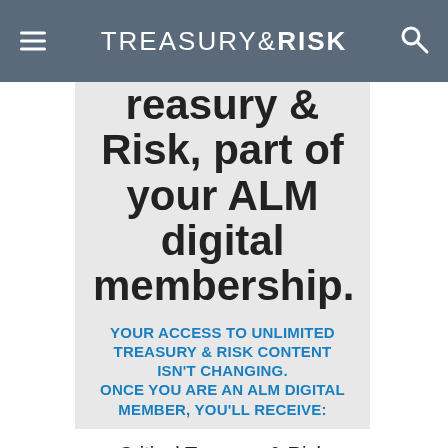TREASURY & RISK
reasury & Risk, part of your ALM digital membership.
YOUR ACCESS TO UNLIMITED TREASURY & RISK CONTENT ISN'T CHANGING. ONCE YOU ARE AN ALM DIGITAL MEMBER, YOU'LL RECEIVE:
Critical Treasury & Risk information including in-depth analysis of